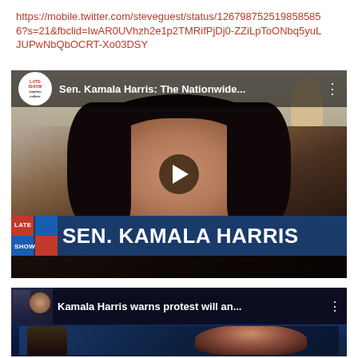https://mobile.twitter.com/steveguest/status/1267987525198585856?s=21&fbclid=IwAR0UVhzh2e1p2TMRifPjDj0-ZZiLpToONbq5yuLJUPwNbQbOCRT-Xo03DSY
[Figure (screenshot): YouTube video thumbnail for 'Sen. Kamala Harris: The Nationwide...' on The Late Show with Stephen Colbert. Shows Kamala Harris in a video call setting with a play button overlay. A blue lower-third shows 'SEN. KAMALA HARRIS' with Late Show branding.]
[Figure (screenshot): YouTube video thumbnail for 'Kamala Harris warns protest will an...' showing a TV screen with Kamala Harris speaking, overlaid on another image.]